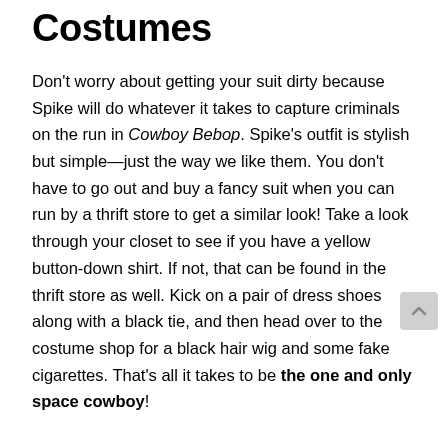Costumes
Don't worry about getting your suit dirty because Spike will do whatever it takes to capture criminals on the run in Cowboy Bebop. Spike's outfit is stylish but simple—just the way we like them. You don't have to go out and buy a fancy suit when you can run by a thrift store to get a similar look! Take a look through your closet to see if you have a yellow button-down shirt. If not, that can be found in the thrift store as well. Kick on a pair of dress shoes along with a black tie, and then head over to the costume shop for a black hair wig and some fake cigarettes. That's all it takes to be the one and only space cowboy!